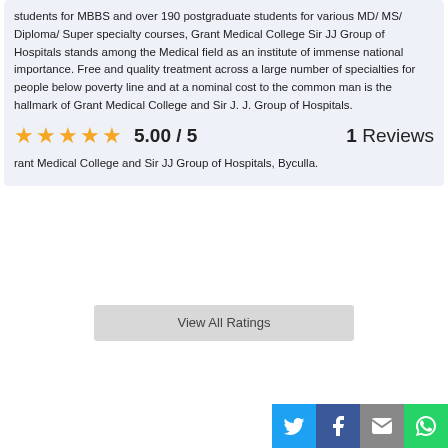students for MBBS and over 190 postgraduate students for various MD/ MS/ Diploma/ Super specialty courses, Grant Medical College Sir JJ Group of Hospitals stands among the Medical field as an institute of immense national importance. Free and quality treatment across a large number of specialties for people below poverty line and at a nominal cost to the common man is the hallmark of Grant Medical College and Sir J. J. Group of Hospitals.
5.00 / 5   1 Reviews
rant Medical College and Sir JJ Group of Hospitals, Byculla.
View All Ratings